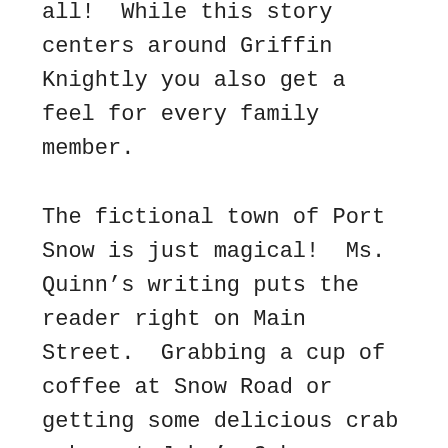all!  While this story centers around Griffin Knightly you also get a feel for every family member.

The fictional town of Port Snow is just magical!  Ms. Quinn's writing puts the reader right on Main Street.  Grabbing a cup of coffee at Snow Road or getting some delicious crab cakes at Jake's Cakes you feel like you are right there!  That is such a